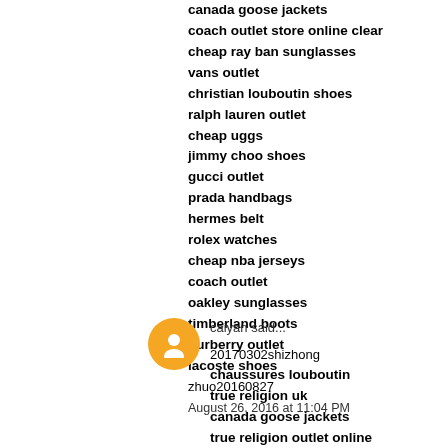canada goose jackets
coach outlet store online clear
cheap ray ban sunglasses
vans outlet
christian louboutin shoes
ralph lauren outlet
cheap uggs
jimmy choo shoes
gucci outlet
prada handbags
hermes belt
rolex watches
cheap nba jerseys
coach outlet
oakley sunglasses
timberland boots
burberry outlet
lacoste shoes
zhuo20160827
August 26, 2016 at 11:04 PM
caiyan said...
20170302shizhong
chaussures louboutin
true religion uk
canada goose jackets
true religion outlet online